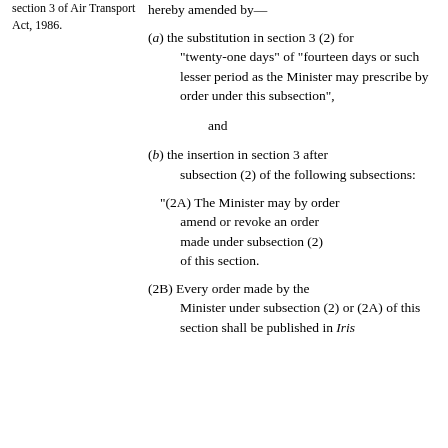section 3 of Air Transport Act, 1986.
hereby amended by—
(a) the substitution in section 3 (2) for "twenty-one days" of "fourteen days or such lesser period as the Minister may prescribe by order under this subsection",
and
(b) the insertion in section 3 after subsection (2) of the following subsections:
"(2A) The Minister may by order amend or revoke an order made under subsection (2) of this section.
(2B) Every order made by the Minister under subsection (2) or (2A) of this section shall be published in Iris